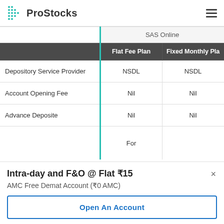ProStocks
|  | Flat Fee Plan | Fixed Monthly Pla |
| --- | --- | --- |
| Depository Service Provider | NSDL | NSDL |
| Account Opening Fee | Nil | Nil |
| Advance Deposite | Nil | Nil |
|  | For |  |
Intra-day and F&O @ Flat ₹15
AMC Free Demat Account (₹0 AMC)
Open An Account